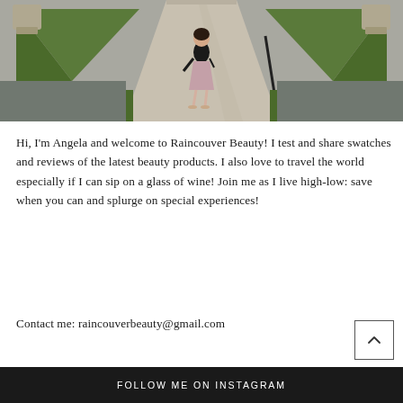[Figure (photo): A woman in a black top and floral midi skirt standing on a stone garden path flanked by trimmed hedges and stone urns, formal garden setting]
Hi, I'm Angela and welcome to Raincouver Beauty! I test and share swatches and reviews of the latest beauty products. I also love to travel the world especially if I can sip on a glass of wine! Join me as I live high-low: save when you can and splurge on special experiences!
Contact me: raincouverbeauty@gmail.com
FOLLOW ME ON INSTAGRAM